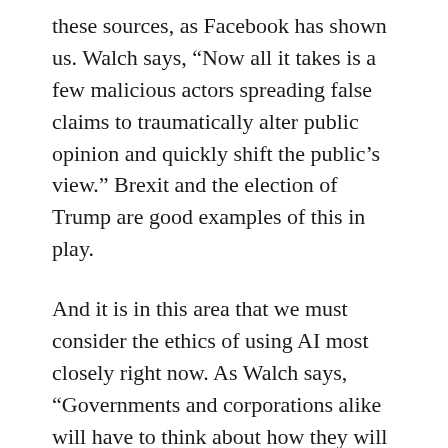these sources, as Facebook has shown us. Walch says, “Now all it takes is a few malicious actors spreading false claims to traumatically alter public opinion and quickly shift the public’s view.” Brexit and the election of Trump are good examples of this in play.
And it is in this area that we must consider the ethics of using AI most closely right now. As Walch says, “Governments and corporations alike will have to think about how they will reign in the potential damage done by AI-enabled content creation,” and she adds, “we must encourage companies and governments to consider fake content to be as malicious as cybersecurity